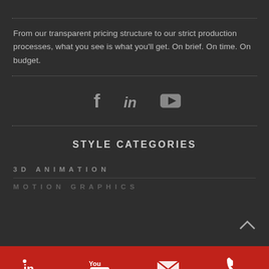From our transparent pricing structure to our strict production processes, what you see is what you'll get. On brief. On time. On budget.
[Figure (infographic): Social media icons row: Facebook (f), LinkedIn (in), YouTube (play button)]
STYLE CATEGORIES
3D ANIMATION
MOTION GRAPHICS
Bottom toolbar with LinkedIn, YouTube, email, and phone icons on red background